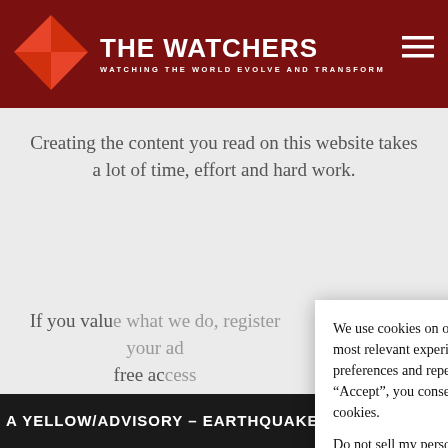THE WATCHERS
WATCHING THE WORLD EVOLVE AND TRANSFORM
Creating the content you read on this website takes a lot of time, effort and hard work.
If you value what we do, register your ad free ac[cess]
We use cookies on our website to give you the most relevant experience by remembering your preferences and repeat visits. By clicking “Accept”, you consent to the use of ALL the cookies.
Do not sell my personal information.
A YELLOW/ADVISORY - EARTHQUAKE SWARM BENEATH TA’ū